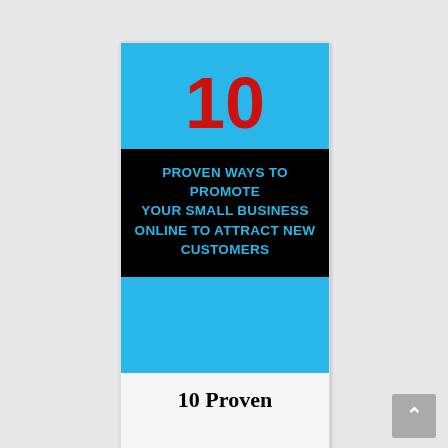[Figure (illustration): Book cover with sky blue background, large red number 10, black band with cyan text reading PROVEN WAYS TO PROMOTE YOUR SMALL BUSINESS ONLINE TO ATTRACT NEW CUSTOMERS]
10 Proven Ways To Promote Your